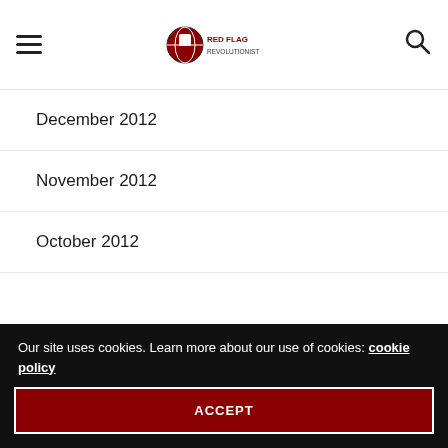Red Flag Revolutionist - navigation header
December 2012
November 2012
October 2012
September 2012
July 2011
June 2011
May 2011
January 2011
Our site uses cookies. Learn more about our use of cookies: cookie policy
ACCEPT